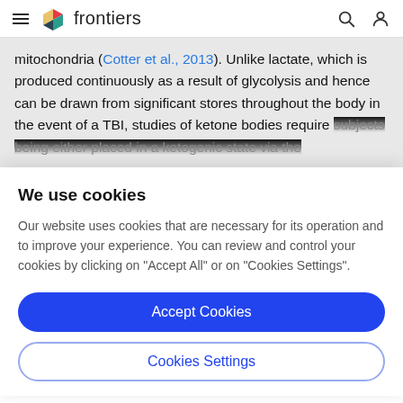frontiers
mitochondria (Cotter et al., 2013). Unlike lactate, which is produced continuously as a result of glycolysis and hence can be drawn from significant stores throughout the body in the event of a TBI, studies of ketone bodies require subjects being either placed in a ketogenic state via the
We use cookies
Our website uses cookies that are necessary for its operation and to improve your experience. You can review and control your cookies by clicking on "Accept All" or on "Cookies Settings".
Accept Cookies
Cookies Settings